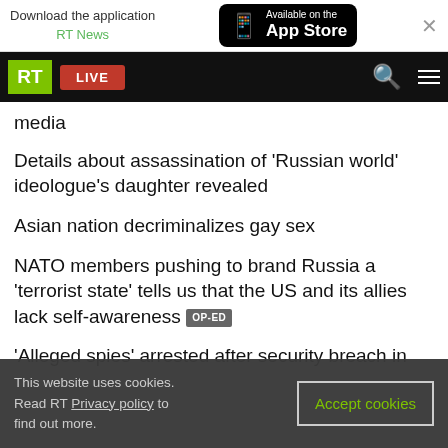Download the application RT News — Available on the App Store
RT LIVE
media
Details about assassination of 'Russian world' ideologue's daughter revealed
Asian nation decriminalizes gay sex
NATO members pushing to brand Russia a 'terrorist state' tells us that the US and its allies lack self-awareness OP-ED
'Alleged spies' arrested after security breach in
This website uses cookies. Read RT Privacy policy to find out more.
Accept cookies